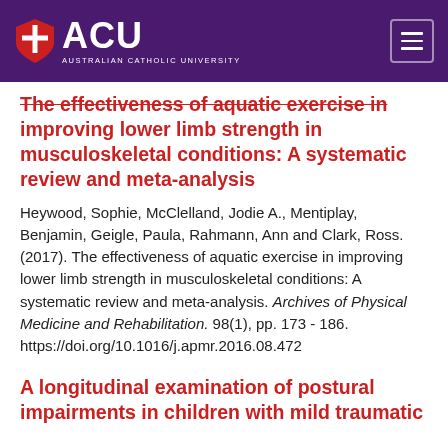[Figure (logo): Australian Catholic University (ACU) logo with purple header bar, shield icon, ACU text, and hamburger menu icon]
The effectiveness of aquatic exercise in improving lower limb strength in musculoskeletal conditions: A systematic review and meta-analysis
Heywood, Sophie, McClelland, Jodie A., Mentiplay, Benjamin, Geigle, Paula, Rahmann, Ann and Clark, Ross. (2017). The effectiveness of aquatic exercise in improving lower limb strength in musculoskeletal conditions: A systematic review and meta-analysis. Archives of Physical Medicine and Rehabilitation. 98(1), pp. 173 - 186. https://doi.org/10.1016/j.apmr.2016.08.472
A longitudinal examination of postural impairments in children with mild traumatic